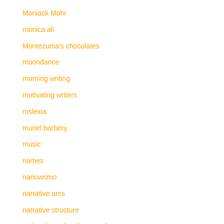Moniack Mohr
monica ali
Montezuma's chocolates
moondance
morning writing
motivating writers
mslexia
muriel barbery
music
names
nanowrimo
narrative arcs
narrative structure
national novel writing month
national writing
Neil Bartlett